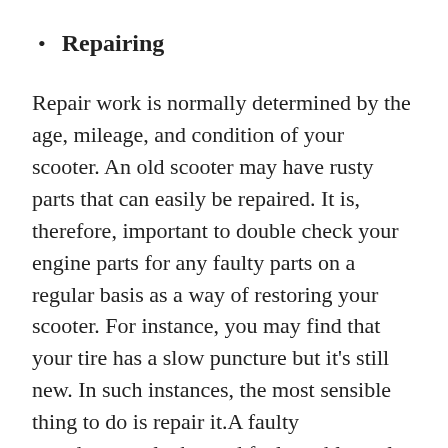Repairing
Repair work is normally determined by the age, mileage, and condition of your scooter. An old scooter may have rusty parts that can easily be repaired. It is, therefore, important to double check your engine parts for any faulty parts on a regular basis as a way of restoring your scooter. For instance, you may find that your tire has a slow puncture but it's still new. In such instances, the most sensible thing to do is repair it.A faulty speedometer, locks, and faulty cables only need to be repaired not replaced. Consider checking your scooter's screws, nuts or bolts and tighten them accordingly. You should also think of examining your brake system, axles, muffler fasteners, steering